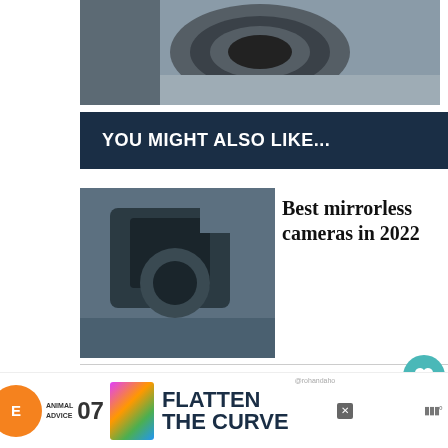[Figure (photo): Close-up photo of a camera lens from above on a wooden surface]
YOU MIGHT ALSO LIKE...
[Figure (photo): Person holding a mirrorless camera with both hands outdoors]
Best mirrorless cameras in 2022
[Figure (photo): Close-up of camera top controls and dials, Panasonic camera]
Panasonic GH5 6K Photo Mode explained
[Figure (infographic): Advertisement banner: Animal Advice 07 - Flatten the Curve]